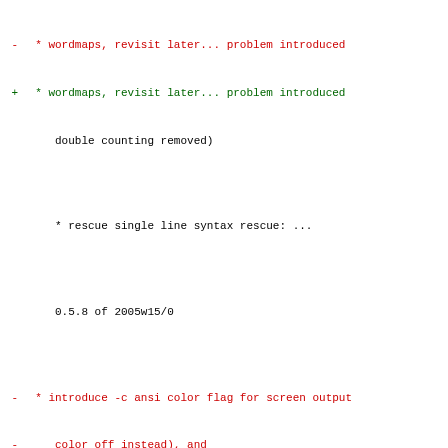diff output showing changes between versions of a changelog/source file
-  * wordmaps, revisit later... problem introduced
+  * wordmaps, revisit later... problem introduced
     double counting removed)

     * rescue single line syntax rescue: ...

     0.5.8 of 2005w15/0

-  * introduce -c ansi color flag for screen output
-    color off instead), and
+  * introduce -c ansi color flag for screen output
+    color off instead), and
      -q quiet mode, no screen output
-     there is some scope for breakage here, continu
+     there is some scope for breakage here, continu
      plumbing

     * man page updated
-
+
     0.5.9 of 2005w16/1

     * dbi fixes from 0.5.8 changes (ansi)
@@ -5240,7 +5261,7 @@ skipped, synced tarball and d
     * sqlite default file name created to sisu_sqlit

     * plaintext some cleaning of output
-
+
     * xml  minor touch, image tag, version/revision